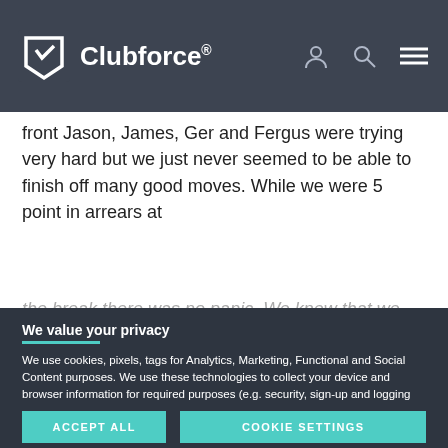Clubforce®
front Jason, James, Ger and Fergus were trying very hard but we just never seemed to be able to finish off many good moves. While we were 5 point in arrears at
the break there was no panic. We knew that we were winning as much ball as Setanta but just needed to take our chances in front of goal.
We value your privacy
We use cookies, pixels, tags for Analytics, Marketing, Functional and Social Content purposes. We use these technologies to collect your device and browser information for required purposes (e.g. security, sign-up and logging in). We may share this data with third parties - including advertising partners like Google for Marketing purposes. By clicking "Accept All", you consent to the use of ALL the cookies. Please visit our for more information.
ACCEPT ALL
COOKIE SETTINGS
second end. We were now winning everything at
line Daniel Line made it 2–3 to 1–4 in our favour. Stephen O'Leary had a…